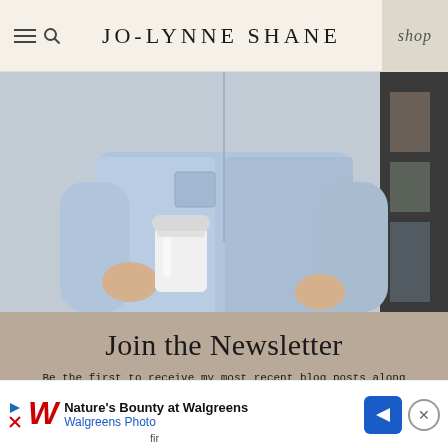JO-LYNNE SHANE  shop
[Figure (photo): Person from torso down wearing a light blue chambray button-down shirt, holding a white to-go coffee cup with both hands, grey wall background]
Join the Newsletter
Be the first to receive my most recent blog posts along with exclusive newsletter content like special sales, my newest favorite finds, and an occasional peek behind the scenes -- all delivered right to your inbox!
[Figure (other): Advertisement banner: Nature's Bounty at Walgreens - Walgreens Photo ad with Walgreens logo, navigation arrow icon, and close button]